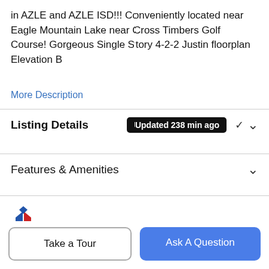in AZLE and AZLE ISD!!! Conveniently located near Eagle Mountain Lake near Cross Timbers Golf Course! Gorgeous Single Story 4-2-2 Justin floorplan Elevation B
More Description
Listing Details  Updated 238 min ago
Features & Amenities
[Figure (logo): NTREIS logo with stylized red and blue house/arrow graphic above the text 'ntreis']
Listing information © 2022 North Texas Real Estate Information System.
Schools
Take a Tour
Ask A Question